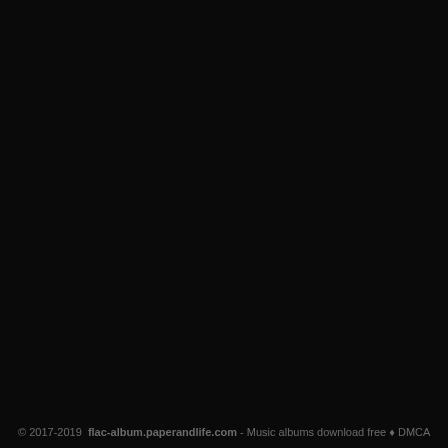© 2017-2019  flac-album.paperandlife.com - Music albums download free ♦ DMCA